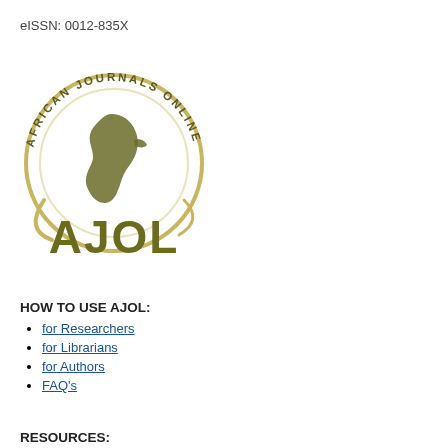eISSN: 0012-835X
[Figure (logo): African Journals Online (AJOL) logo — circular emblem with Africa continent silhouette in olive/gold tones, text 'AFRICAN JOURNALS ONLINE' around the circle, and 'AJOL' in large bold letters below]
HOW TO USE AJOL:
for Researchers
for Librarians
for Authors
FAQ's
RESOURCES: